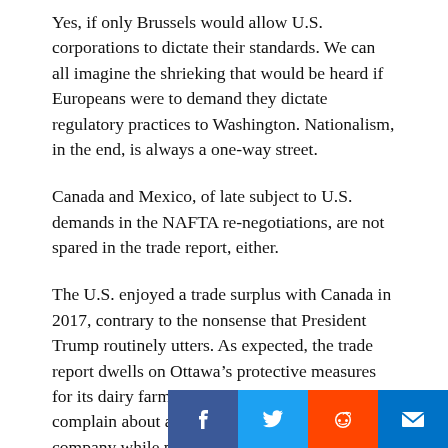Yes, if only Brussels would allow U.S. corporations to dictate their standards. We can all imagine the shrieking that would be heard if Europeans were to demand they dictate regulatory practices to Washington. Nationalism, in the end, is always a one-way street.
Canada and Mexico, of late subject to U.S. demands in the NAFTA re-negotiations, are not spared in the trade report, either.
The U.S. enjoyed a trade surplus with Canada in 2017, contrary to the nonsense that President Trump routinely utters. As expected, the trade report dwells on Ottawa’s protective measures for its dairy farmers and does not fail to complain about aid to Québec’s Bombardier company while not mentioning the massive corporate welfare doled out to U.S. corporations at the federal, state and local levels. But we again get to the crux of the matte… [e
[Figure (infographic): Social sharing buttons bar at bottom right: Facebook (blue), Twitter (light blue), Reddit (orange-red), Email (dark blue)]